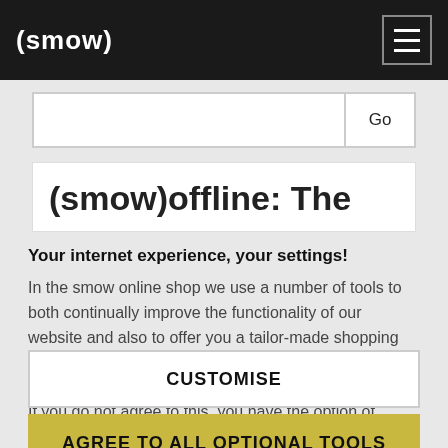(smow)
Go
(smow)offline: The
Your internet experience, your settings!
In the smow online shop we use a number of tools to both continually improve the functionality of our website and also to offer you a tailor-made shopping experience. For this reason we evaluate certain data, for example which device you use to visit our website. If you do not agree to this, you have the option of adjusting your settings individually. Please click on
CUSTOMISE
AGREE TO ALL OPTIONAL TOOLS